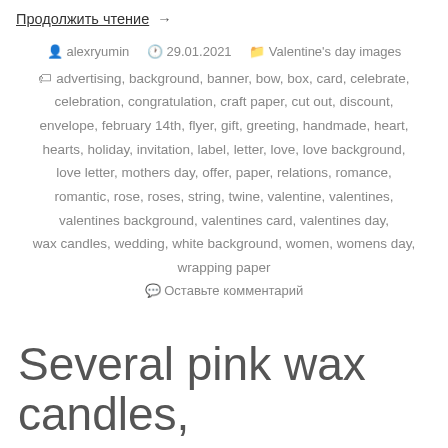Продолжить чтение →
alexryumin  29.01.2021  Valentine's day images
advertising, background, banner, bow, box, card, celebrate, celebration, congratulation, craft paper, cut out, discount, envelope, february 14th, flyer, gift, greeting, handmade, heart, hearts, holiday, invitation, label, letter, love, love background, love letter, mothers day, offer, paper, relations, romance, romantic, rose, roses, string, twine, valentine, valentines, valentines background, valentines card, valentines day, wax candles, wedding, white background, women, womens day, wrapping paper
Оставьте комментарий
Several pink wax candles,